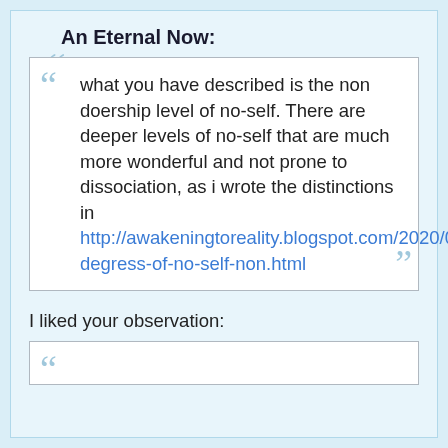An Eternal Now:
what you have described is the non doership level of no-self. There are deeper levels of no-self that are much more wonderful and not prone to dissociation, as i wrote the distinctions in http://awakeningtoreality.blogspot.com/2020/04/different-degress-of-no-self-non.html
I liked your observation: